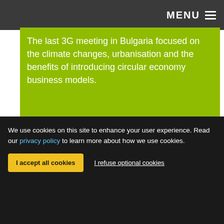MENU
The last 3G meeting in Bulgaria focused on the climate changes, urbanisation and the benefits of introducing circular economy business models.
Type: Project
We use cookies on this site to enhance your user experience. Read our privacy policy to learn more about how we use cookies.
I accept all cookies
I refuse optional cookies